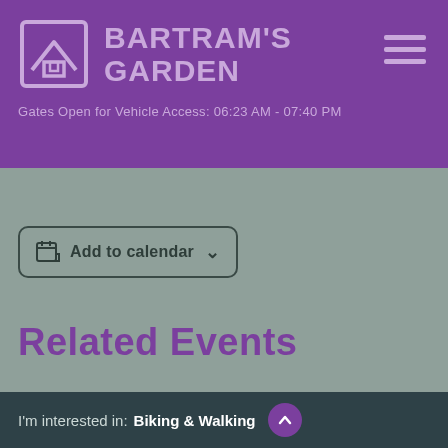BARTRAM'S GARDEN
Gates Open for Vehicle Access: 06:23 AM - 07:40 PM
[Figure (other): Add to calendar button with dropdown chevron]
[Figure (other): Wavy decorative divider line]
Related Events
I'm interested in:  Biking & Walking